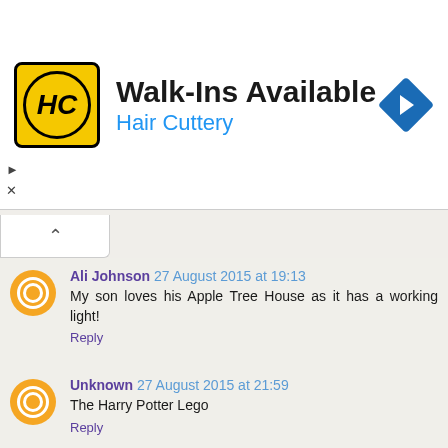[Figure (other): Advertisement banner for Hair Cuttery: logo with HC initials in yellow circle, text 'Walk-Ins Available' and 'Hair Cuttery' in blue, navigation arrow icon top right]
Walk-Ins Available
Hair Cuttery
Ali Johnson 27 August 2015 at 19:13
My son loves his Apple Tree House as it has a working light!
Reply
Unknown 27 August 2015 at 21:59
The Harry Potter Lego
Reply
Unknown 28 August 2015 at 07:56
Loving Lego and technic in particular, favourite has to be the Sopwith Camel from a few years back though